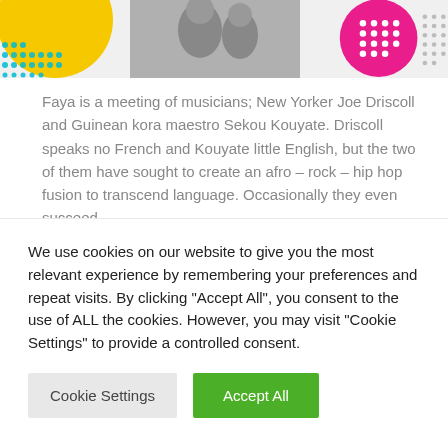[Figure (illustration): Colorful decorative image strip at top: yellow circle with teal dot pattern on left, black-and-white photo of musicians/people in center, pink polka-dot circle and gray dotted shapes on right]
Faya is a meeting of musicians; New Yorker Joe Driscoll and Guinean kora maestro Sekou Kouyate. Driscoll speaks no French and Kouyate little English, but the two of them have sought to create an afro – rock – hip hop fusion to transcend language. Occasionally they even succeed.
We use cookies on our website to give you the most relevant experience by remembering your preferences and repeat visits. By clicking "Accept All", you consent to the use of ALL the cookies. However, you may visit "Cookie Settings" to provide a controlled consent.